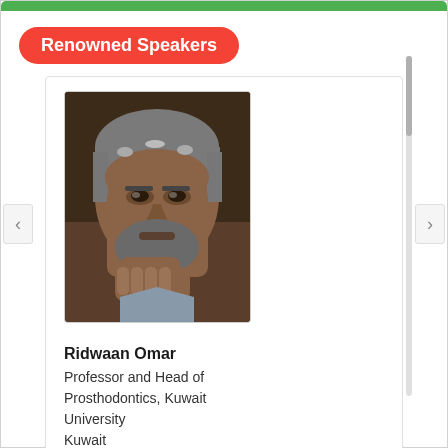Renowned Speakers
[Figure (photo): Portrait photo of Ridwaan Omar, a middle-aged man with grey hair and beard, resting his chin on his hand]
Ridwaan Omar
Professor and Head of Prosthodontics, Kuwait University
Kuwait